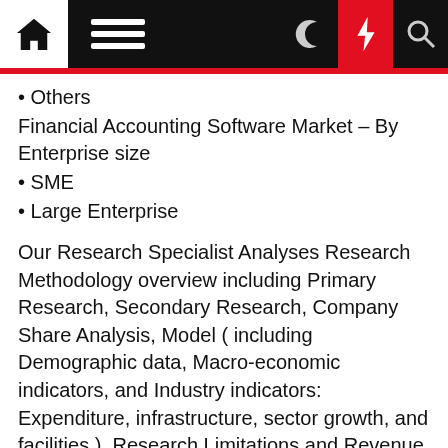Navigation bar with home, menu, dark mode, lightning, and search icons
• Others
Financial Accounting Software Market – By Enterprise size
• SME
• Large Enterprise
Our Research Specialist Analyses Research Methodology overview including Primary Research, Secondary Research, Company Share Analysis, Model ( including Demographic data, Macro-economic indicators, and Industry indicators: Expenditure, infrastructure, sector growth, and facilities ), Research Limitations and Revenue Based Modeling. Company share analysis is used to derive the size of the Asia-Pacific Financial Accounting Software market. As well as a study of revenues of companies for the last three to five years also